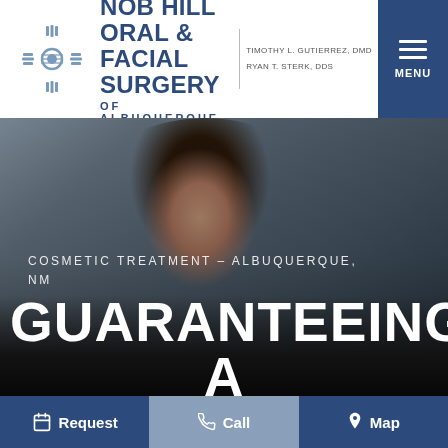[Figure (logo): Nob Hill Oral & Facial Surgery of Albuquerque logo with Zia sun symbol and doctor names Timothy L. Gutierrez, DMD and Ryan T. Sterk, DDS, plus hamburger menu button]
[Figure (photo): Smiling woman with glasses and long dark hair wearing a dark jacket, serving as hero background image]
COSMETIC TREATMENT – ALBUQUERQUE, NM
GUARANTEEING A MORE CONFIDENT
[Figure (infographic): Bottom navigation bar with three buttons: Request (calendar icon), Call (phone icon), Map (pin icon)]